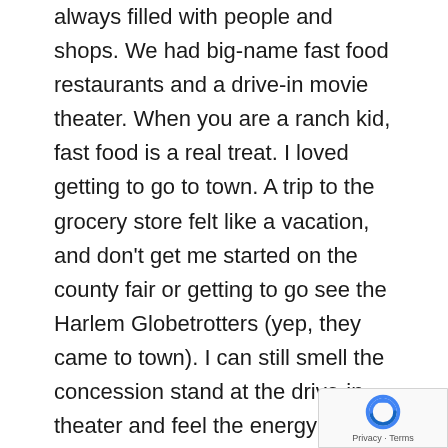always filled with people and shops. We had big-name fast food restaurants and a drive-in movie theater. When you are a ranch kid, fast food is a real treat. I loved getting to go to town. A trip to the grocery store felt like a vacation, and don't get me started on the county fair or getting to go see the Harlem Globetrotters (yep, they came to town). I can still smell the concession stand at the drive-in theater and feel the energy at the Christmas stroll.

I went back last summer. I knew the lumber mill and many of the mines had closed. I knew Dairy Queen was converted to a used car dealership. I knew people were struggling to make ends meet, but the extent didn't hit me until I went to the grocery store. Seeing the degree to which the store has fallen apart shocked me: A store was brand new when I was a kid, literally had dust on
[Figure (other): reCAPTCHA badge with Google logo and Privacy / Terms links]